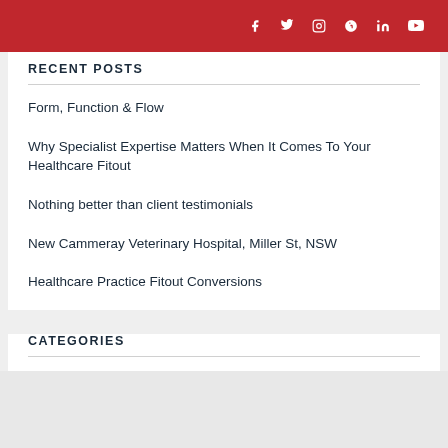f  t  (instagram)  p  in  (youtube)
RECENT POSTS
Form, Function & Flow
Why Specialist Expertise Matters When It Comes To Your Healthcare Fitout
Nothing better than client testimonials
New Cammeray Veterinary Hospital, Miller St, NSW
Healthcare Practice Fitout Conversions
CATEGORIES